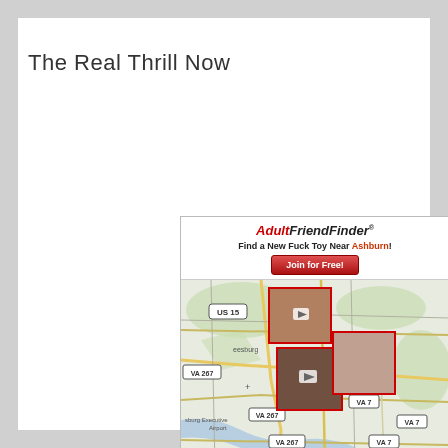The Real Thrill Now
[Figure (screenshot): AdultFriendFinder advertisement banner showing a map of the Ashburn, VA area with profile photo thumbnails pinned to locations on the map. The ad header reads 'AdultFriendFinder - Find a New Fuck Toy Near Ashburn! Join for Free!' Map shows roads labeled US 15, VA 7, VA 267, VA 28, and locations including Leesburg andsburg Executive Airport.]